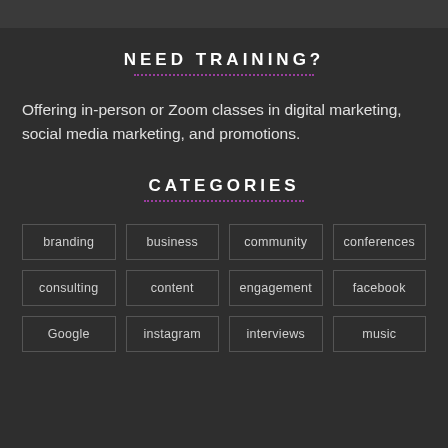NEED TRAINING?
Offering in-person or Zoom classes in digital marketing, social media marketing, and promotions.
CATEGORIES
branding
business
community
conferences
consulting
content
engagement
facebook
Google
instagram
interviews
music